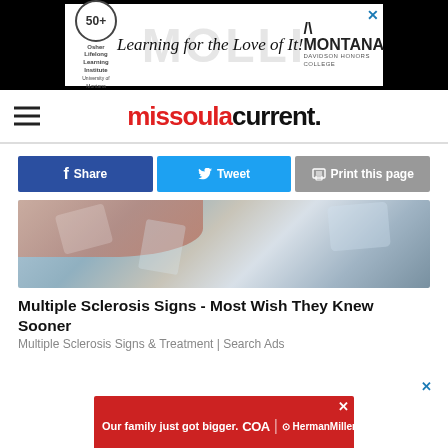[Figure (photo): Banner advertisement for MOLLI (Montana Lifelong Learning Institute) with text 'Learning for the Love of It!' and Montana Davidson Honors College logo on white background with black borders]
missoula current.
Share | Tweet | Print this page
[Figure (photo): Close-up photo of ice cubes and a hand or skin, used as article thumbnail image]
Multiple Sclerosis Signs - Most Wish They Knew Sooner
Multiple Sclerosis Signs & Treatment | Search Ads
[Figure (photo): Bottom banner advertisement: 'Our family just got bigger.' with COA, HermanMiller, and Knoll logos on red background]